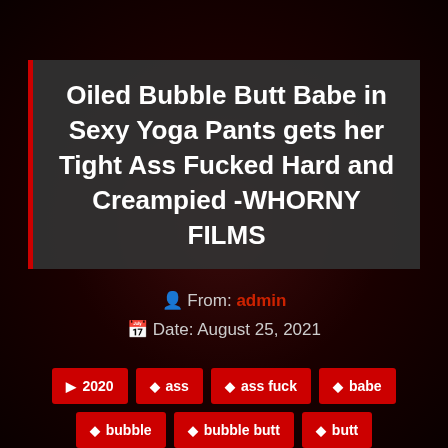Oiled Bubble Butt Babe in Sexy Yoga Pants gets her Tight Ass Fucked Hard and Creampied -WHORNY FILMS
From: admin
Date: August 25, 2021
2020
ass
ass fuck
babe
bubble
bubble butt
butt
films
fucked
fucked hard